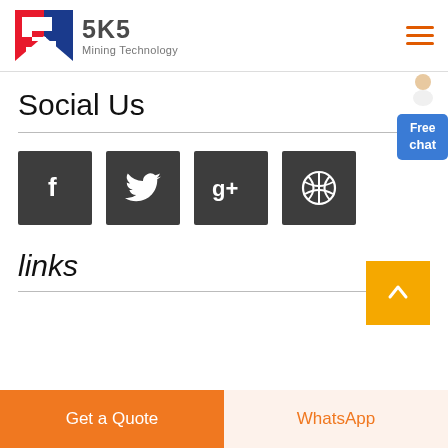SKS Mining Technology
Social Us
[Figure (logo): Four social media icon buttons: Facebook, Twitter, Google+, Dribbble — dark gray square buttons with white icons]
links
Get a Quote
WhatsApp